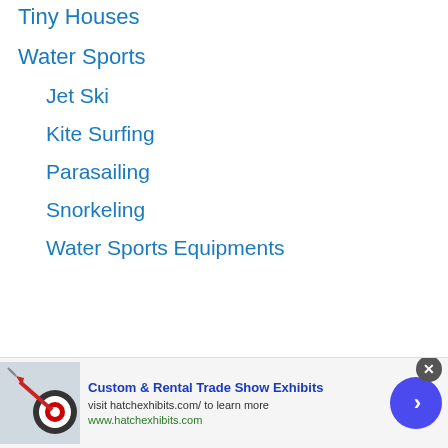Tiny Houses
Water Sports
Jet Ski
Kite Surfing
Parasailing
Snorkeling
Water Sports Equipments
[Figure (screenshot): Ad banner for Custom & Rental Trade Show Exhibits by hatchexhibits.com, with a dart board image, close button, and navigation arrow]